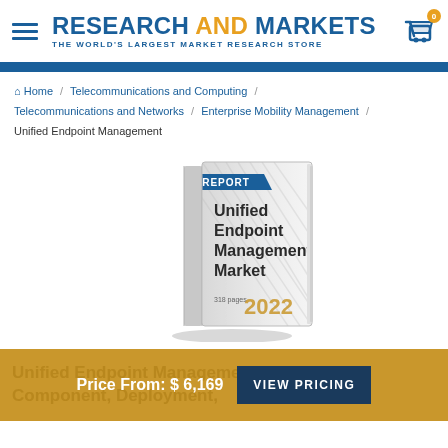RESEARCH AND MARKETS — THE WORLD'S LARGEST MARKET RESEARCH STORE
Home / Telecommunications and Computing / Telecommunications and Networks / Enterprise Mobility Management / Unified Endpoint Management
[Figure (illustration): 3D book cover showing 'Unified Endpoint Management Market' report, 318 pages, 2022, with blue 'REPORT' banner on white/gray background]
Unified Endpoint Management Market by Component, Deployment, Size
Price From: $ 6,169  VIEW PRICING